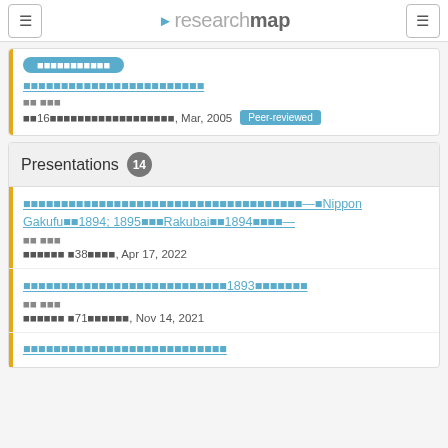researchmap
■■ ■■■
■■16■■■■■■■■■■■■■■■■■■, Mar, 2005 [Peer-reviewed]
Presentations 14
■■■■■■■■■■■■■■■■■■■■■■■■■■■■—■Nippon Gakufu■■1894; 1895■■■Rakubai■■1894■■■■—
■■ ■■■
■■■■■■ ■38■■■■, Apr 17, 2022
■■■■■■■■■■■■■■■■■■■■■■■■■■■1893■■■■■■■
■■ ■■■
■■■■■■ ■71■■■■■■, Nov 14, 2021
■■■■■■■■■■■■■■■■■■■■■■■■■■■